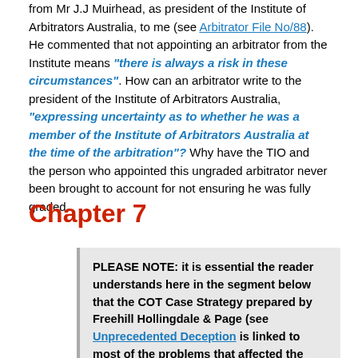from Mr J.J Muirhead, as president of the Institute of Arbitrators Australia, to me (see Arbitrator File No/88). He commented that not appointing an arbitrator from the Institute means "there is always a risk in these circumstances". How can an arbitrator write to the president of the Institute of Arbitrators Australia, "expressing uncertainty as to whether he was a member of the Institute of Arbitrators Australia at the time of the arbitration"? Why have the TIO and the person who appointed this ungraded arbitrator never been brought to account for not ensuring he was fully graded.
Chapter 7
PLEASE NOTE: it is essential the reader understands here in the segment below that the COT Case Strategy prepared by Freehill Hollingdale & Page (see Unprecedented Deception is linked to most of the problems that affected the COT Cases in proving their claims. The cause of so much heartache for the COT